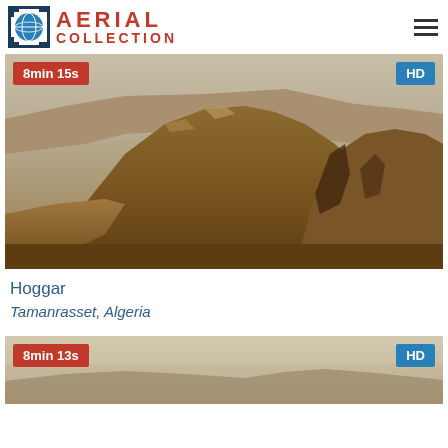[Figure (logo): Aerial Collection logo with globe icon and red text]
[Figure (photo): Aerial view of Hoggar mountain rock formation in desert landscape, Algeria. Duration badge: 8min 15s, HD badge.]
Hoggar
Tamanrasset, Algeria
[Figure (photo): Aerial view of desert landscape, partially visible. Duration badge: 8min 13s, HD badge.]